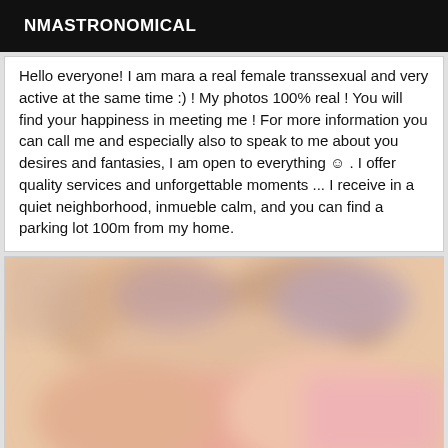NMASTRONOMICAL
Hello everyone! I am mara a real female transsexual and very active at the same time :) ! My photos 100% real ! You will find your happiness in meeting me ! For more information you can call me and especially also to speak to me about you desires and fantasies, I am open to everything ☺ . I offer quality services and unforgettable moments ... I receive in a quiet neighborhood, inmueble calm, and you can find a parking lot 100m from my home.
[Figure (photo): Blurred/obscured photo of a person, moderately out of focus with pink and peach tones]